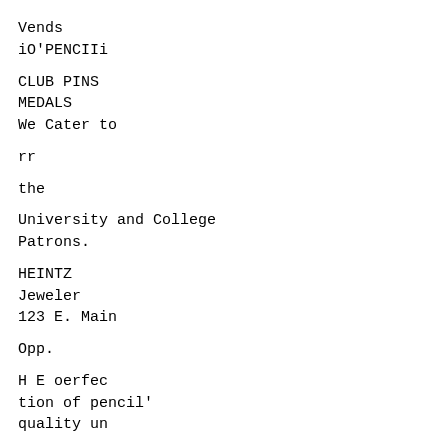Vends
iO'PENCIIi
CLUB PINS
MEDALS
We Cater to
rr
the
University and College
Patrons.
HEINTZ
Jeweler
123 E. Main
Opp.
H E oerfec
tion of pencil'
quality un
equalled for
eiBootnneee, uni-
formity of grading
sad durability.